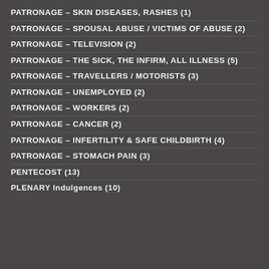PATRONAGE – SKIN DISEASES, RASHES (1)
PATRONAGE – SPOUSAL ABUSE / VICTIMS OF ABUSE (2)
PATRONAGE – TELEVISION (2)
PATRONAGE – THE SICK, THE INFIRM, ALL ILLNESS (5)
PATRONAGE – TRAVELLERS / MOTORISTS (3)
PATRONAGE – UNEMPLOYED (2)
PATRONAGE – WORKERS (2)
PATRONAGE – CANCER (2)
PATRONAGE – INFERTILITY & SAFE CHILDBIRTH (4)
PATRONAGE – STOMACH PAIN (3)
PENTECOST (13)
PLENARY Indulgences (10)